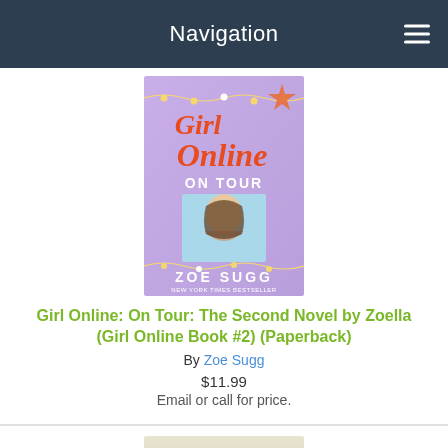Navigation
[Figure (illustration): Book cover of 'Girl Online: On Tour' by Zoe Sugg. Purple background with decorative string lights, cursive red/orange title text 'Girl Online', subtitle 'ON TOUR', photo of a girl, author name 'ZOE SUGG' in white, and 'New York Times Bestseller' at bottom.]
Girl Online: On Tour: The Second Novel by Zoella (Girl Online Book #2) (Paperback)
By Zoe Sugg
$11.99
Email or call for price.
[Figure (illustration): Partial book cover of an e. lockhart book showing the author name 'e. lockhart' and subtitle text 'We Were Liars' and beginning of a title word 'the'.]